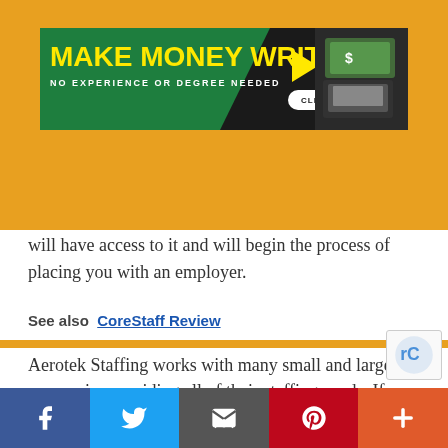[Figure (screenshot): Advertisement banner: 'MAKE MONEY WRITING' with yellow text on green/dark background, arrow, tagline 'NO EXPERIENCE OR DEGREE NEEDED', 'CLICK HERE' button, and money/laptop imagery on the right.]
will have access to it and will begin the process of placing you with an employer.
See also  CoreStaff Review
Aerotek Staffing works with many small and large companies providing all of their staffing needs. If you are looking to increase your workforce, or hiring tempor